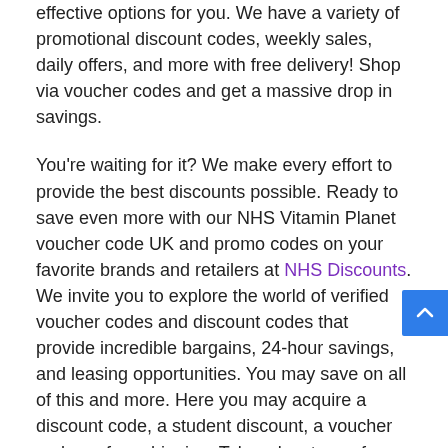effective options for you. We have a variety of promotional discount codes, weekly sales, daily offers, and more with free delivery! Shop via voucher codes and get a massive drop in savings.
You're waiting for it? We make every effort to provide the best discounts possible. Ready to save even more with our NHS Vitamin Planet voucher code UK and promo codes on your favorite brands and retailers at NHS Discounts. We invite you to explore the world of verified voucher codes and discount codes that provide incredible bargains, 24-hour savings, and leasing opportunities. You may save on all of this and more. Here you may acquire a discount code, a student discount, a voucher code, or free shipping. Take advantage of our unique Vitamin Planet NHS discount code and deals. Enjoy online shopping at your fingertips!